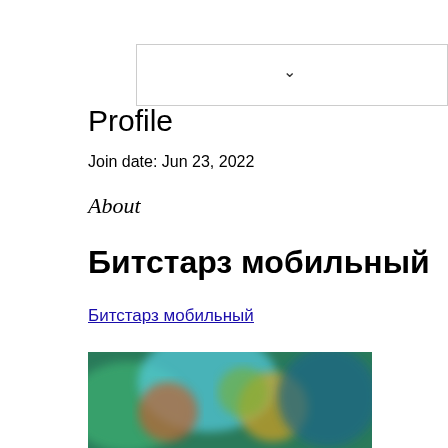[Figure (screenshot): Dropdown/select box UI element with a chevron arrow on the right side]
Profile
Join date: Jun 23, 2022
About
Битстарз мобильный
Битстарз мобильный
[Figure (screenshot): Blurred image showing colorful game or app screenshots with characters]